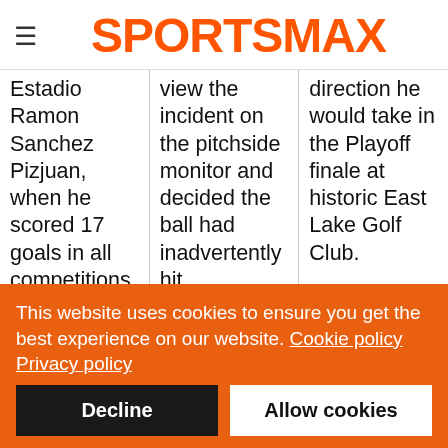SPORTSMAX
Estadio Ramon Sanchez Pizjuan, when he scored 17 goals in all competitions.

The 28-year-old has 10 senior caps for Argentina, the
view the incident on the pitchside monitor and decided the ball had inadvertently hit Cresswell's arm.

Conte was furious with the decision, although his side
direction he would take in the Playoff finale at historic East Lake Golf Club.

Indeed, he fought back on Thursday, shooting a back-
This website uses cookies to ensure you get the best experience on our website. Cookie policy
Privacy policy
Decline
Allow cookies